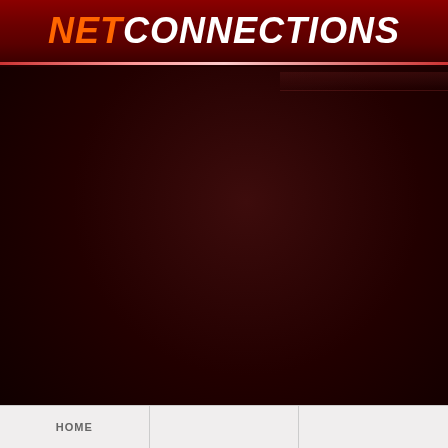NETCONNECTIONS
[Figure (other): Dark deep red background with radial gradient, forming the main body of the page]
HOME